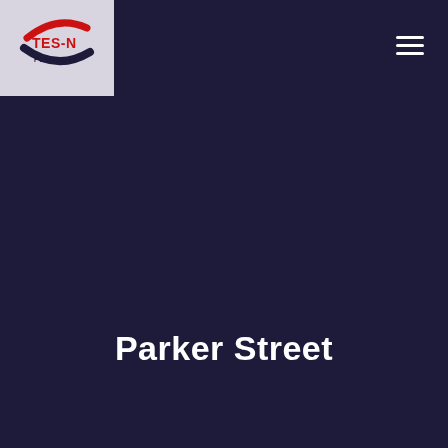[Figure (logo): TES-N Projects logo: red arc and dark navy swoosh with TES-N text in red and PROJECTS in dark navy, on a light grey background]
Parker Street